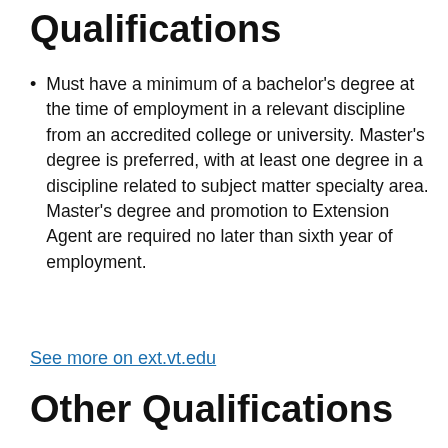Qualifications
Must have a minimum of a bachelor's degree at the time of employment in a relevant discipline from an accredited college or university. Master's degree is preferred, with at least one degree in a discipline related to subject matter specialty area. Master's degree and promotion to Extension Agent are required no later than sixth year of employment.
See more on ext.vt.edu
Other Qualifications